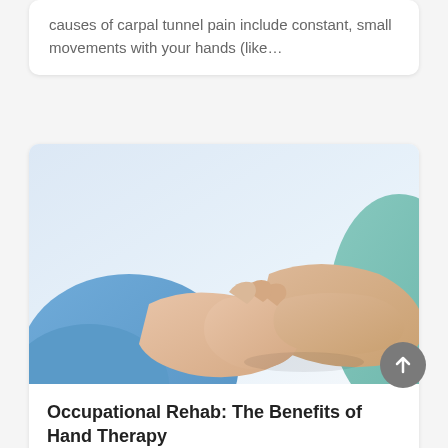causes of carpal tunnel pain include constant, small movements with your hands (like…
[Figure (photo): A healthcare professional in blue scrubs holding and examining a patient's wrist/hand, suggesting occupational or hand therapy treatment.]
Occupational Rehab: The Benefits of Hand Therapy
Oct 1, 2018 | Hand Therapy, Occupational Rehab